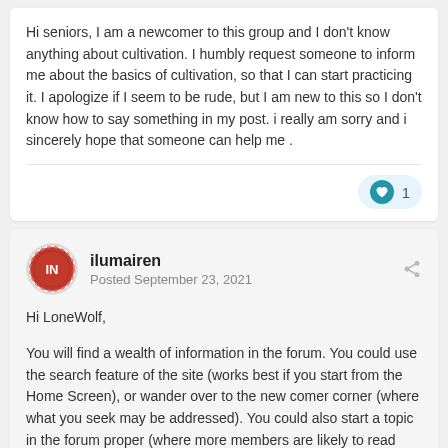Hi seniors, I am a newcomer to this group and I don't know anything about cultivation. I humbly request someone to inform me about the basics of cultivation, so that I can start practicing it. I apologize if I seem to be rude, but I am new to this so I don't know how to say something in my post. i really am sorry and i sincerely hope that someone can help me .
[Figure (other): Like button with heart icon and count of 1]
ilumairen
Posted September 23, 2021
Hi LoneWolf,

You will find a wealth of information in the forum. You could use the search feature of the site (works best if you start from the Home Screen), or wander over to the new comer corner (where what you seek may be addressed). You could also start a topic in the forum proper (where more members are likely to read your post).